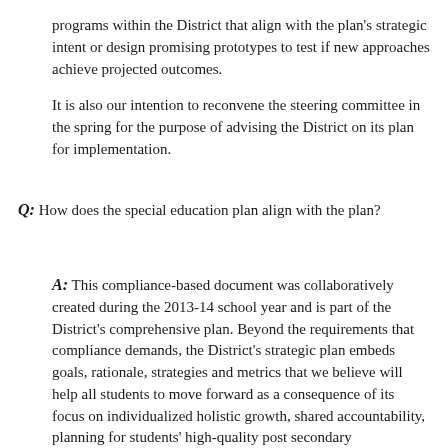programs within the District that align with the plan's strategic intent or design promising prototypes to test if new approaches achieve projected outcomes.
It is also our intention to reconvene the steering committee in the spring for the purpose of advising the District on its plan for implementation.
Q: How does the special education plan align with the plan?
A: This compliance-based document was collaboratively created during the 2013-14 school year and is part of the District's comprehensive plan. Beyond the requirements that compliance demands, the District's strategic plan embeds goals, rationale, strategies and metrics that we believe will help all students to move forward as a consequence of its focus on individualized holistic growth, shared accountability, planning for students' high-quality post secondary employment